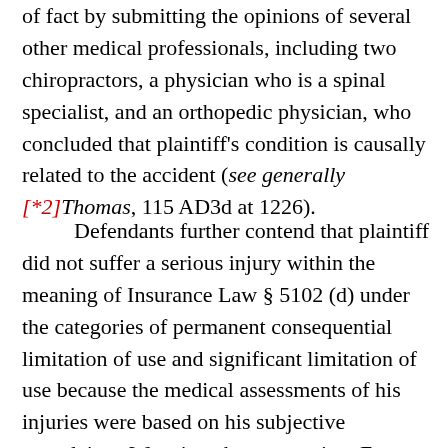of fact by submitting the opinions of several other medical professionals, including two chiropractors, a physician who is a spinal specialist, and an orthopedic physician, who concluded that plaintiff's condition is causally related to the accident (see generally [*2]Thomas, 115 AD3d at 1226).
Defendants further contend that plaintiff did not suffer a serious injury within the meaning of Insurance Law § 5102 (d) under the categories of permanent consequential limitation of use and significant limitation of use because the medical assessments of his injuries were based on his subjective complaints. We reject that contention. Even assuming, arguendo, that defendants met their initial burden with respect to that issue, in opposition to the motion plaintiff submitted objective evidence that the range of motion of his